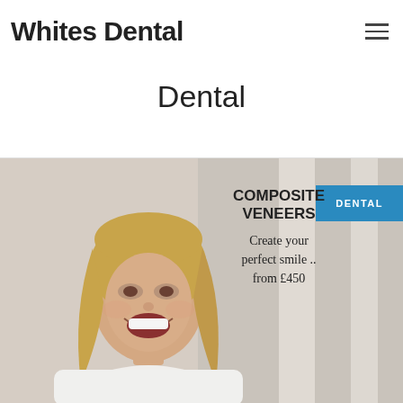Whites Dental
Dental
[Figure (photo): A smiling young woman with blonde hair, promoting Composite Veneers dental service. Text overlay reads: COMPOSITE VENEERS - Create your perfect smile .. from £450. A blue badge labeled DENTAL appears in the top right corner of the image.]